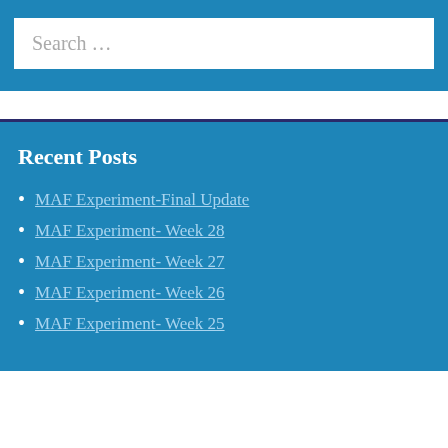Search …
Recent Posts
MAF Experiment-Final Update
MAF Experiment- Week 28
MAF Experiment- Week 27
MAF Experiment- Week 26
MAF Experiment- Week 25